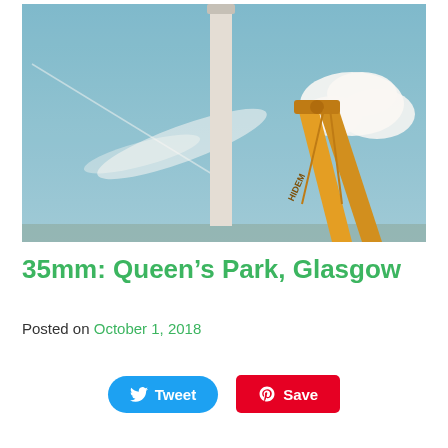[Figure (photo): Photograph taken on 35mm film showing a tall white industrial chimney/smokestack against a blue sky with wispy clouds, with a yellow construction crane or excavator arm visible to the right.]
35mm: Queen's Park, Glasgow
Posted on October 1, 2018